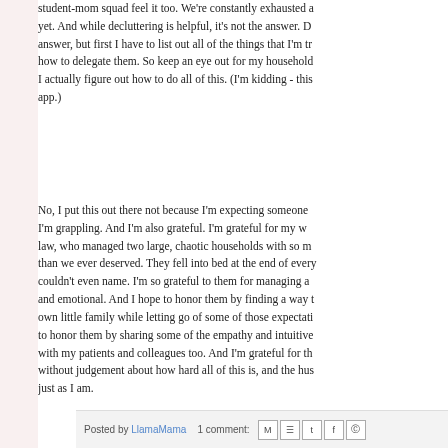student-mom squad feel it too. We're constantly exhausted and yet. And while decluttering is helpful, it's not the answer. D answer, but first I have to list out all of the things that I'm tr how to delegate them. So keep an eye out for my household I actually figure out how to do all of this. (I'm kidding - this app.)
No, I put this out there not because I'm expecting someone I'm grappling. And I'm also grateful. I'm grateful for my w law, who managed two large, chaotic households with so m than we ever deserved. They fell into bed at the end of every couldn't even name. I'm so grateful to them for managing a and emotional. And I hope to honor them by finding a way t own little family while letting go of some of those expectati to honor them by sharing some of the empathy and intuitive with my patients and colleagues too. And I'm grateful for th without judgement about how hard all of this is, and the hus just as I am.
Posted by LlamaMama   1 comment: